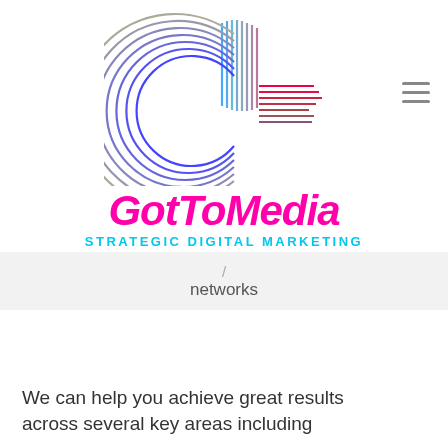[Figure (logo): GotToMedia company logo — stylized letter 'd' with concentric circular lines in blue/purple and horizontal speed lines in magenta/blue gradient, with the company name 'GotToMedia' in bold italic magenta below, and 'STRATEGIC DIGITAL MARKETING' in cyan uppercase letters beneath]
/ networks
We can help you achieve great results across several key areas including